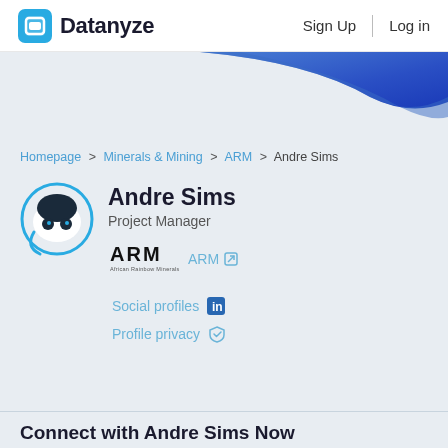Datanyze  Sign Up  Log in
[Figure (illustration): Blue decorative wave/banner graphic in top right area]
Homepage > Minerals & Mining > ARM > Andre Sims
[Figure (illustration): Circular avatar icon with robot face (two circles for eyes) in blue and dark colors]
Andre Sims
Project Manager
[Figure (logo): ARM African Rainbow Minerals logo]
ARM
Social profiles
Profile privacy
Connect with Andre Sims Now